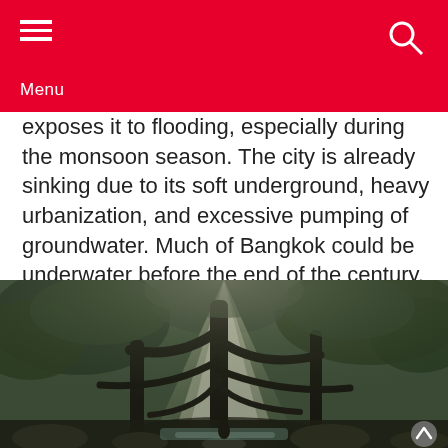Menu
exposes it to flooding, especially during the monsoon season. The city is already sinking due to its soft underground, heavy urbanization, and excessive pumping of groundwater. Much of Bangkok could be underwater before the end of the century.
[Figure (photo): A misty forest scene with light rays breaking through dense trees and foliage over a rocky stream, with a small figure visible near the water at the bottom center.]